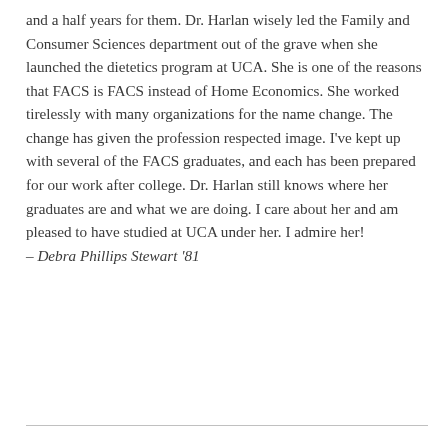and a half years for them. Dr. Harlan wisely led the Family and Consumer Sciences department out of the grave when she launched the dietetics program at UCA. She is one of the reasons that FACS is FACS instead of Home Economics. She worked tirelessly with many organizations for the name change. The change has given the profession respected image. I've kept up with several of the FACS graduates, and each has been prepared for our work after college. Dr. Harlan still knows where her graduates are and what we are doing. I care about her and am pleased to have studied at UCA under her. I admire her! – Debra Phillips Stewart '81